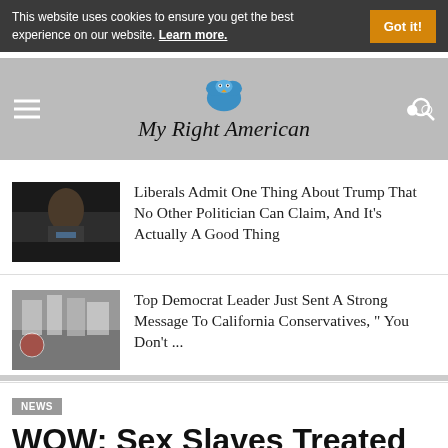This website uses cookies to ensure you get the best experience on our website. Learn more.
My Right American
Liberals Admit One Thing About Trump That No Other Politician Can Claim, And It's Actually A Good Thing
Top Democrat Leader Just Sent A Strong Message To California Conservatives, " You Don't ...
NEWS
WOW: Sex Slaves Treated Like ANIMALS Just Rescued